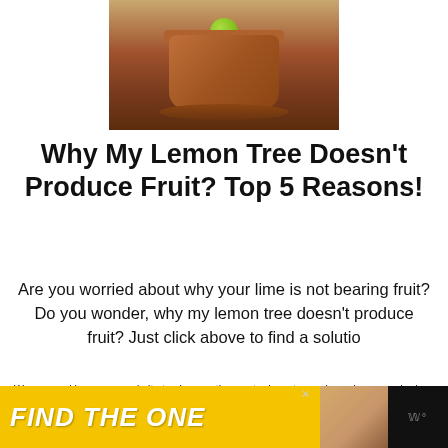[Figure (photo): Photo of a lemon/lime tree in a terracotta pot on a wooden stand, with a small green fruit visible at the top]
Why My Lemon Tree Doesn't Produce Fruit? Top 5 Reasons!
Are you worried about why your lime is not bearing fruit? Do you wonder, why my lemon tree doesn't produce fruit? Just click above to find a solutio
We use cookies on our website to give you the most relevant experience by remembering your preferences and repeat visits. By clicking "Accept", you consent to the use of ALL the cookies. Do not sell my personal information.
[Figure (infographic): Advertisement banner with yellow background showing text FIND THE ONE with a dog image]